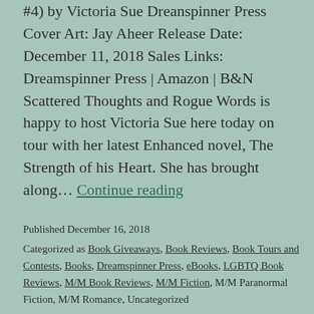#4) by Victoria Sue Dreanspinner Press Cover Art: Jay Aheer Release Date: December 11, 2018 Sales Links: Dreamspinner Press | Amazon | B&N Scattered Thoughts and Rogue Words is happy to host Victoria Sue here today on tour with her latest Enhanced novel, The Strength of his Heart. She has brought along… Continue reading
Published December 16, 2018
Categorized as Book Giveaways, Book Reviews, Book Tours and Contests, Books, Dreamspinner Press, eBooks, LGBTQ Book Reviews, M/M Book Reviews, M/M Fiction, M/M Paranormal Fiction, M/M Romance, Uncategorized